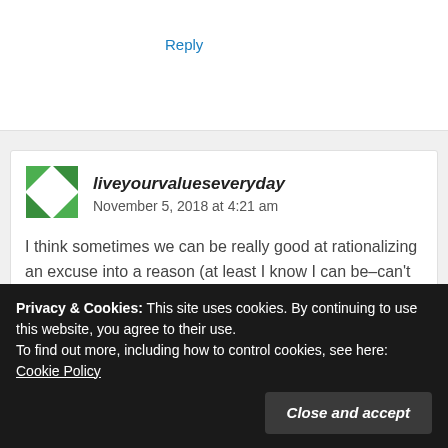Reply
[Figure (logo): Green geometric avatar icon for user liveyourvalueseveryday]
liveyourvalueseveryday  November 5, 2018 at 4:21 am
I think sometimes we can be really good at rationalizing an excuse into a reason (at least I know I can be–can't work out because I need the sleep–sounds very rational, but in reality the 20 minute workout may lead to better sleep and
Privacy & Cookies: This site uses cookies. By continuing to use this website, you agree to their use.
To find out more, including how to control cookies, see here: Cookie Policy
Close and accept